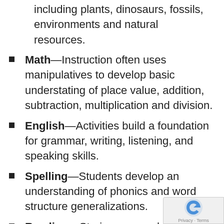including plants, dinosaurs, fossils, environments and natural resources.
Math—Instruction often uses manipulatives to develop basic understating of place value, addition, subtraction, multiplication and division.
English—Activities build a foundation for grammar, writing, listening, and speaking skills.
Spelling—Students develop an understanding of phonics and word structure generalizations.
Reading—Stories are used to build on phonics instruction introduced in English, to...